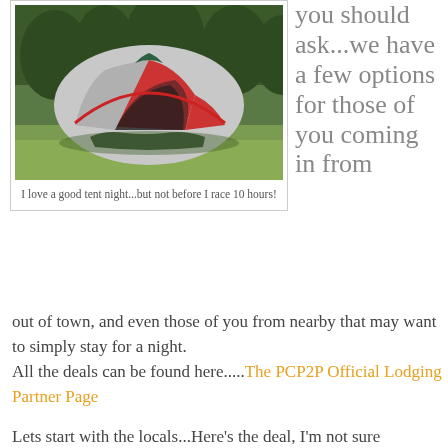[Figure (photo): A red and grey camping tent set up on grass with trees in the background]
I love a good tent night...but not before I race 10 hours!
you should ask...we have a few options for those of you coming in from out of town, and even those of you from nearby that may want to simply stay for a night.
All the deals can be found here.....The PCP2P Official Lodging Partner Page
Lets start with the locals...Here's the deal, I'm not sure